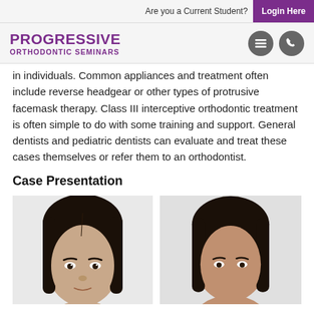Are you a Current Student? Login Here
[Figure (logo): Progressive Orthodontic Seminars logo with hamburger menu and phone icons]
in individuals. Common appliances and treatment often include reverse headgear or other types of protrusive facemask therapy. Class III interceptive orthodontic treatment is often simple to do with some training and support. General dentists and pediatric dentists can evaluate and treat these cases themselves or refer them to an orthodontist.
Case Presentation
[Figure (photo): Two clinical photos side by side showing frontal facial views of a patient for orthodontic case presentation]